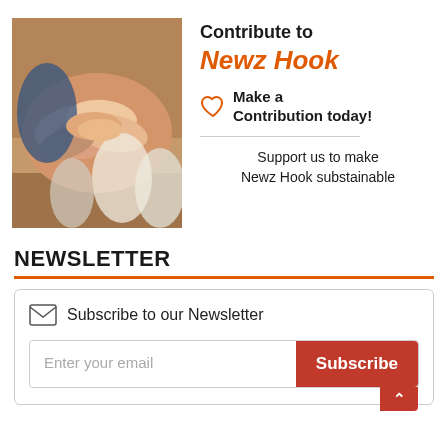[Figure (photo): Photo of multiple people placing their hands together in a group huddle/teamwork gesture]
Contribute to Newz Hook
♡ Make a Contribution today!
Support us to make Newz Hook substainable
NEWSLETTER
Subscribe to our Newsletter
Enter your email
Subscribe